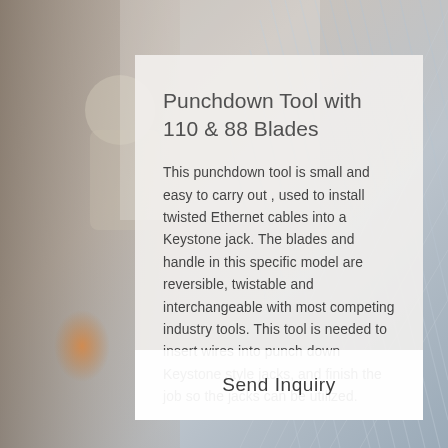[Figure (photo): Background photo showing a worker/technician and network/ethernet cables on the right side, with a semi-transparent light gray overlay panel in the center-right area.]
Punchdown Tool with 110 & 88 Blades
This punchdown tool is small and easy to carry out , used to install twisted Ethernet cables into a Keystone jack. The blades and handle in this specific model are reversible, twistable and interchangeable with most competing industry tools. This tool is needed to insert wires into punch down Keystone style jacks, and finish the job so the jacks can be utilized.
Send Inquiry